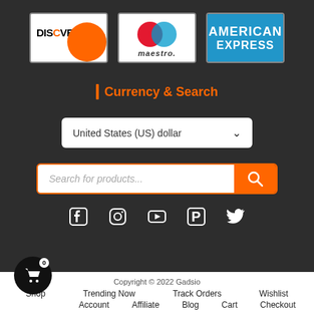[Figure (logo): Discover credit card logo - white card with orange circle and black DISCOVER text]
[Figure (logo): Maestro card logo - overlapping red and blue circles with maestro text below]
[Figure (logo): American Express card logo - blue background with AMERICAN EXPRESS text in white]
Currency & Search
United States (US) dollar
Search for products...
[Figure (infographic): Social media icons row: Facebook, Instagram, YouTube, Pinterest, Twitter]
Copyright © 2022 Gadsio
Shop  Trending Now  Track Orders  Wishlist  Account  Affiliate  Blog  Cart  Checkout